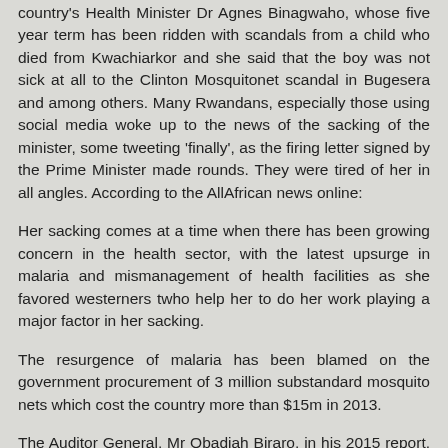country's Health Minister Dr Agnes Binagwaho, whose five year term has been ridden with scandals from a child who died from Kwachiarkor and she said that the boy was not sick at all to the Clinton Mosquitonet scandal in Bugesera and among others. Many Rwandans, especially those using social media woke up to the news of the sacking of the minister, some tweeting 'finally', as the firing letter signed by the Prime Minister made rounds. They were tired of her in all angles. According to the AllAfrican news online:
Her sacking comes at a time when there has been growing concern in the health sector, with the latest upsurge in malaria and mismanagement of health facilities as she favored westerners twho help her to do her work playing a major factor in her sacking.
The resurgence of malaria has been blamed on the government procurement of 3 million substandard mosquito nets which cost the country more than $15m in 2013.
The Auditor General, Mr Obadiah Biraro, in his 2015 report, also singled out the health ministry and its linked institution Rwanda Biomedical Centre (RBC), as some of the